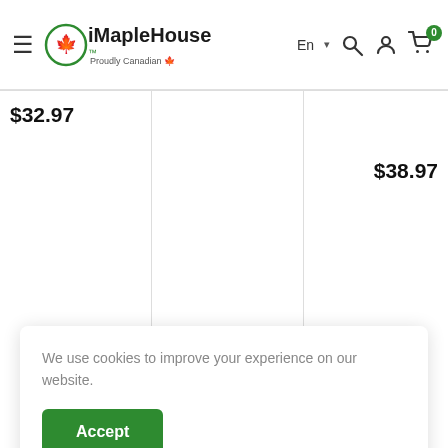iMapleHouse — Proudly Canadian
$32.97
$38.97
Add to cart
Choose options
Add to
[Figure (illustration): Package/box icon outline]
We use cookies to improve your experience on our website.
Accept